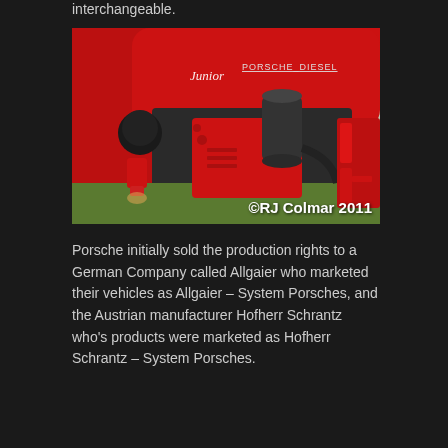interchangeable.
[Figure (photo): Close-up photo of a red Porsche Junior diesel tractor engine bay, showing a red engine with black cylindrical air filter/intake, hoses, and mechanical components. The hood badge reads 'Junior' in script and 'PORSCHE_DIESEL' in block lettering. Photo watermarked '©RJ Colmar 2011'.]
©RJ Colmar 2011
Porsche initially sold the production rights to a German Company called Allgaier who marketed their vehicles as Allgaier – System Porsches, and the Austrian manufacturer Hofherr Schrantz who's products were marketed as Hofherr Schrantz – System Porsches.